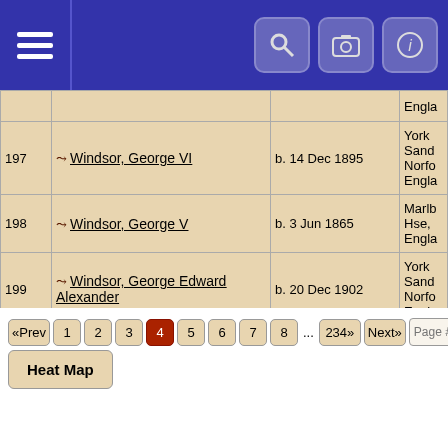Navigation header with menu, search, camera, and info icons
| # | Name | Date | Place |
| --- | --- | --- | --- |
| 197 | Windsor, George VI | b. 14 Dec 1895 | York Sand Norfo Engla |
| 198 | Windsor, George V | b. 3 Jun 1865 | Marlb Hse, Engla |
| 199 | Windsor, George Edward Alexander | b. 20 Dec 1902 | York Sand Norfo Engla |
| 200 | Windsor, Elizabeth II Alexandra | b. 21 Apr 1926 | 17 Br Lond Engla |
«Prev 1 2 3 4 5 6 7 8 ... 234» Next» Page # Go |
Heat Map